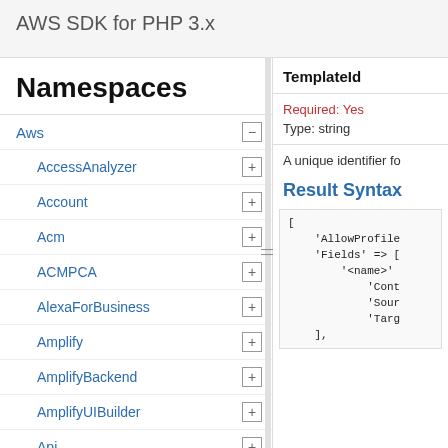AWS SDK for PHP 3.x
Namespaces
Aws
AccessAnalyzer
Account
Acm
ACMPCA
AlexaForBusiness
Amplify
AmplifyBackend
AmplifyUIBuilder
Api
ApiGateway
ApiGatewayManagementApi
TemplateId
Required: Yes
Type: string
A unique identifier fo
Result Syntax
[
    'AllowProfile
    'Fields' => [
        '<name>'
            'Cont
            'Sour
            'Targ
    ],